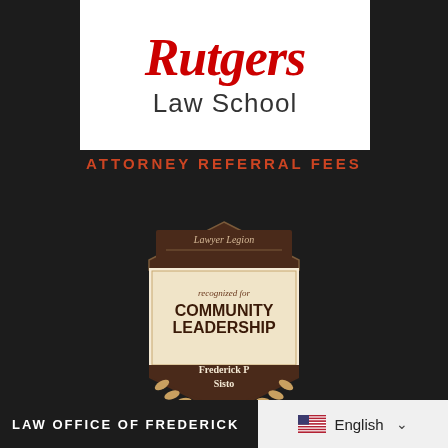[Figure (logo): Rutgers Law School logo with red italic Rutgers text and gray 'Law School' text on white background]
ATTORNEY REFERRAL FEES
[Figure (illustration): Lawyer Legion badge recognized for Community Leadership awarded to Frederick P Sisto, shield-shaped badge with brown and cream colors and laurel decoration]
LAW OFFICE OF FREDERICK
English